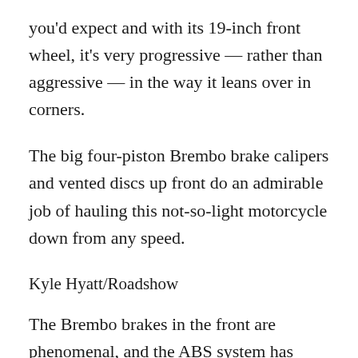you'd expect and with its 19-inch front wheel, it's very progressive — rather than aggressive — in the way it leans over in corners.
The big four-piston Brembo brake calipers and vented discs up front do an admirable job of hauling this not-so-light motorcycle down from any speed.
Kyle Hyatt/Roadshow
The Brembo brakes in the front are phenomenal, and the ABS system has worked flawlessly in my time with the bike, which is to say that I haven't